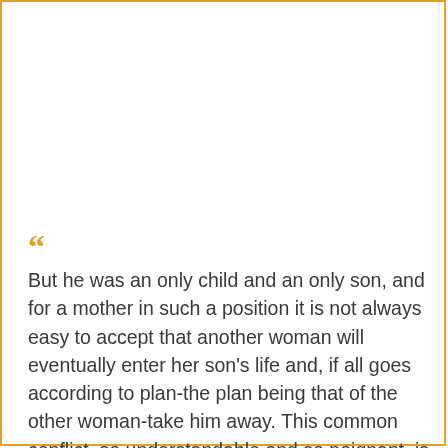“But he was an only child and an only son, and for a mother in such a position it is not always easy to accept that another woman will eventually enter her son’s life and, if all goes according to plan-the plan being that of the other woman-take him away. This common conflict, so understandable and so poignant, is played out time and time again, and almost always with the same painful result: Mother loses. It is so, of course, if Mother is overt in her attempt to put off the almost inevitable; if